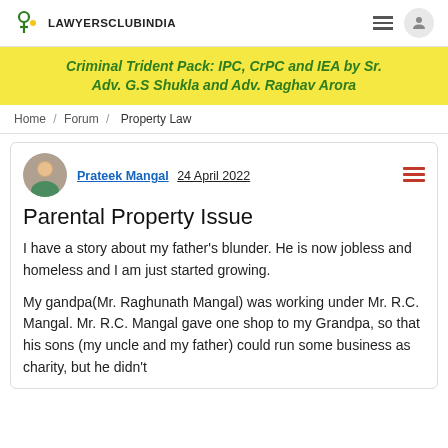LAWYERSCLUBINDIA
[Figure (infographic): Yellow banner advertisement: Criminal Trident Pack: IPC, CrPC and IEA by Sr. Adv. G.S Shukla and Adv. Raghav Arora]
Home / Forum / Property Law
Prateek Mangal  24 April 2022
Parental Property Issue
I have a story about my father's blunder. He is now jobless and homeless and I am just started growing.
My gandpa(Mr. Raghunath Mangal) was working under Mr. R.C. Mangal. Mr. R.C. Mangal gave one shop to my Grandpa, so that his sons (my uncle and my father) could run some business as charity, but he didn't